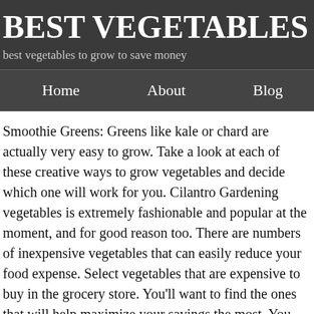BEST VEGETABLES TO G
best vegetables to grow to save money
Home   About   Blog
Smoothie Greens: Greens like kale or chard are actually very easy to grow. Take a look at each of these creative ways to grow vegetables and decide which one will work for you. Cilantro Gardening vegetables is extremely fashionable and popular at the moment, and for good reason too. There are numbers of inexpensive vegetables that can easily reduce your food expense. Select vegetables that are expensive to buy in the grocery store. You'll want to find the ones that will help maximize your savings the most. You can save money, contribute to the environment and eat healthier, more delicious food by doing so. Growing your own produce is the best way to save money on your grocery bill if done right. Start freezing and storing meals now. Say hello to freezer meals. Check with your local council